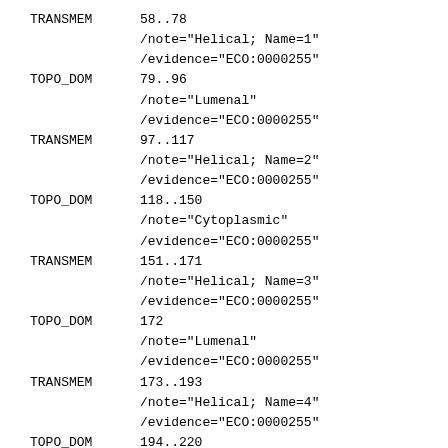TRANSMEM    58..78
    /note="Helical; Name=1"
    /evidence="ECO:0000255"
TOPO_DOM    79..96
    /note="Lumenal"
    /evidence="ECO:0000255"
TRANSMEM    97..117
    /note="Helical; Name=2"
    /evidence="ECO:0000255"
TOPO_DOM    118..150
    /note="Cytoplasmic"
    /evidence="ECO:0000255"
TRANSMEM    151..171
    /note="Helical; Name=3"
    /evidence="ECO:0000255"
TOPO_DOM    172
    /note="Lumenal"
    /evidence="ECO:0000255"
TRANSMEM    173..193
    /note="Helical; Name=4"
    /evidence="ECO:0000255"
TOPO_DOM    194..220